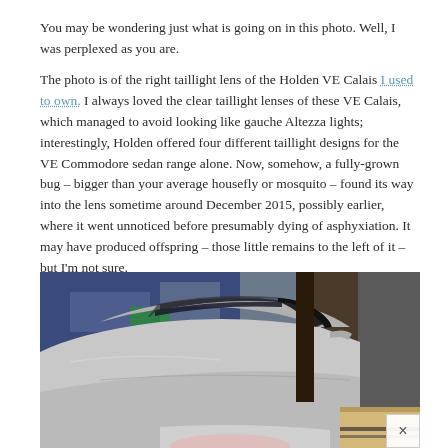You may be wondering just what is going on in this photo. Well, I was perplexed as you are.
The photo is of the right taillight lens of the Holden VE Calais I used to own. I always loved the clear taillight lenses of these VE Calais, which managed to avoid looking like gauche Altezza lights; interestingly, Holden offered four different taillight designs for the VE Commodore sedan range alone. Now, somehow, a fully-grown bug – bigger than your average housefly or mosquito – found its way into the lens sometime around December 2015, possibly earlier, where it went unnoticed before presumably dying of asphyxiation. It may have produced offspring – those little remains to the left of it – but I'm not sure.
[Figure (photo): Photo of the rear of a silver Holden VE Calais sedan, showing the taillight area and rear window, with other vehicles visible in the background, partially cut off at the bottom of the page.]